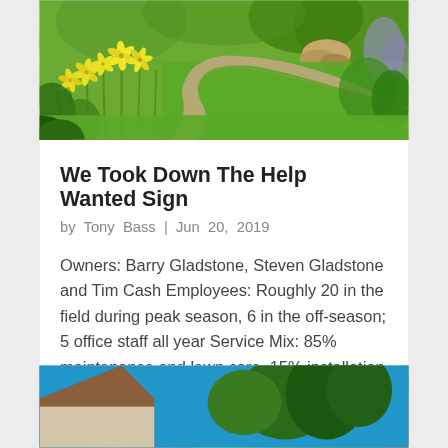[Figure (photo): Garden path with yellow daylilies (hemerocallis) in bloom, winding brick/stone pathway through lush green garden with various flowering plants and shrubs]
We Took Down The Help Wanted Sign
by Tony Bass  |  Jun 20, 2019
Owners: Barry Gladstone, Steven Gladstone and Tim Cash Employees: Roughly 20 in the field during peak season, 6 in the off-season; 5 office staff all year Service Mix: 85% maintenance and lawn care, 15% installation including subcontractors...
[Figure (photo): Partially visible second article image showing a house exterior with trees against blue sky]